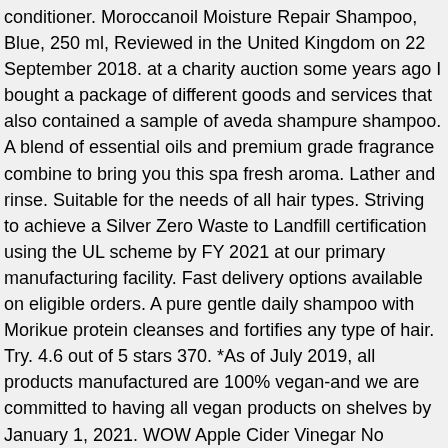conditioner. Moroccanoil Moisture Repair Shampoo, Blue, 250 ml, Reviewed in the United Kingdom on 22 September 2018. at a charity auction some years ago I bought a package of different goods and services that also contained a sample of aveda shampure shampoo. A blend of essential oils and premium grade fragrance combine to bring you this spa fresh aroma. Lather and rinse. Suitable for the needs of all hair types. Striving to achieve a Silver Zero Waste to Landfill certification using the UL scheme by FY 2021 at our primary manufacturing facility. Fast delivery options available on eligible orders. A pure gentle daily shampoo with Morikue protein cleanses and fortifies any type of hair. Try. 4.6 out of 5 stars 370. *As of July 2019, all products manufactured are 100% vegan-and we are committed to having all vegan products on shelves by January 1, 2021. WOW Apple Cider Vinegar No Parabens & Sulphate Shampoo, 300mL, Kronokare - Shampoo - Hydrate Your Hair! Description. I went in there today and asked them to make me a personal scent of the shampure scent and